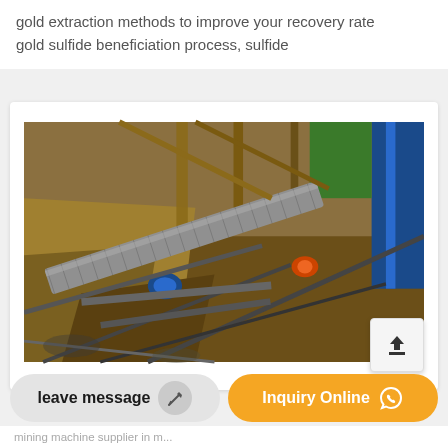gold extraction methods to improve your recovery rate gold sulfide beneficiation process, sulfide
[Figure (photo): Aerial/overhead view of industrial mining conveyor belt system with steel structural framework, motors, and surrounding earthwork/construction site]
leave message
Inquiry Online
mining machine supplier in m...